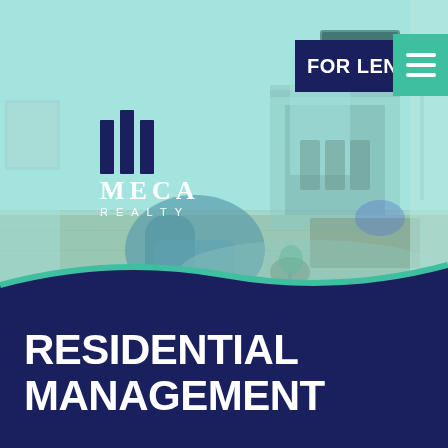[Figure (photo): Interior living room photo with teal/mint color overlay. Shows a modern living room with hardwood floors, blue armchairs, a fireplace, and a sectional sofa. The image has a cyan/teal tint overlay.]
[Figure (logo): MECA REALTY logo with three vertical dark navy bars of increasing height and the text MECA in serif font and REALTY in spaced sans-serif below, displayed in white over the photo.]
FOR LEND
RESIDENTIAL MANAGEMENT